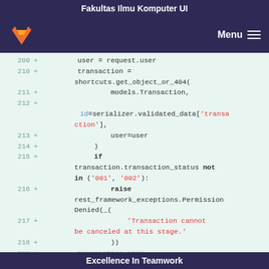Fakultas Ilmu Komputer UI
[Figure (screenshot): GitLab navigation bar with fox logo and Menu hamburger button on dark purple background]
Code diff view showing lines 209-218 of a Python file with added lines (marked with +) showing transaction handling code
Excellence In Teamwork